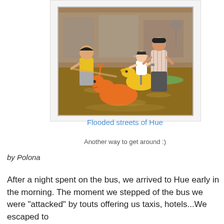[Figure (photo): People wading through flooded streets in Hue, Vietnam. A child sits on a yellow rocking horse toy, a man in a striped shirt stands behind her, and a boy in a yellow shirt reaches toward them. An orange inflatable animal toy floats in the brown floodwater. A green surfboard or boat is visible in the background.]
Flooded streets of Hue
Another way to get around :)
by Polona
After a night spent on the bus, we arrived to Hue early in the morning. The moment we stepped of the bus we were "attacked" by touts offering us taxis, hotels...We escaped to